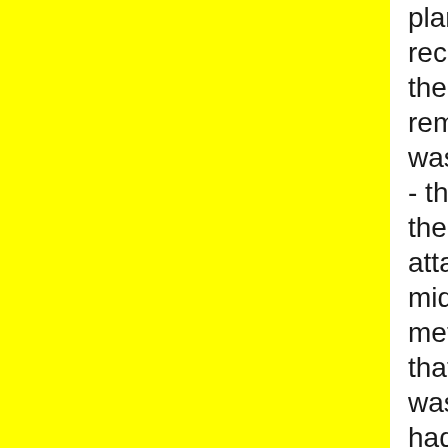plan).  Somehow I recovered, I sat in the last ten remaining riders, it was three laps to go - then two laps - then the bell - I attacked from the middle with 500 metres to go, on that little incline.  I was coming first, I had it in me, I was full of it, forza italia.....I knew that I had fired them up - being chased like a rabbit - pursued!  I could feel them behind me, I looked down at my lolly legs, I was fading fast.   Then I was 2nd, no! 3rd, damm! half a wheel and 4th as we hit the